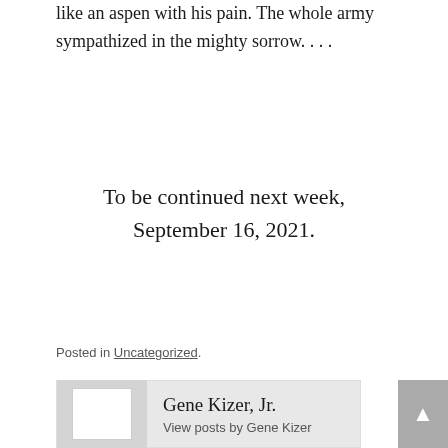like an aspen with his pain. The whole army sympathized in the mighty sorrow. . . .
To be continued next week, September 16, 2021.
Posted in Uncategorized.
Gene Kizer, Jr.
View posts by Gene Kizer